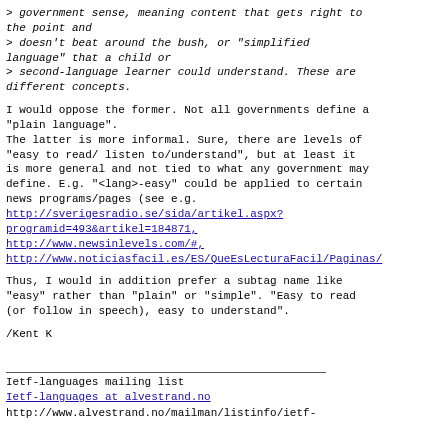> government sense, meaning content that gets right to the point and
> doesn't beat around the bush, or "simplified language" that a child or
> second-language learner could understand. These are different concepts.
I would oppose the former. Not all governments define a "plain language".
The latter is more informal. Sure, there are levels of "easy to read/ listen to/understand", but at least it is more general and not tied to what any government may define. E.g. "<lang>-easy" could be applied to certain news programs/pages (see e.g. http://sverigesradio.se/sida/artikel.aspx?programid=493&artikel=184871, http://www.newsinlevels.com/#, http://www.noticiasfacil.es/ES/QueEsLecturaFacil/Paginas/
Thus, I would in addition prefer a subtag name like "easy" rather than "plain" or "simple". "Easy to read (or follow in speech), easy to understand".
/Kent K
Ietf-languages mailing list
Ietf-languages at alvestrand.no
http://www.alvestrand.no/mailman/listinfo/ietf-